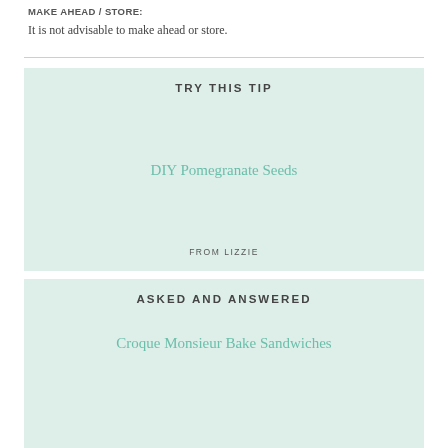MAKE AHEAD / STORE:
It is not advisable to make ahead or store.
TRY THIS TIP
DIY Pomegranate Seeds
FROM LIZZIE
ASKED AND ANSWERED
Croque Monsieur Bake Sandwiches